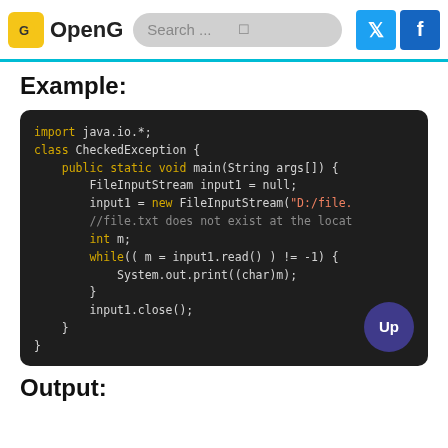OpenG | Search ... | Twitter | Facebook
Example:
[Figure (screenshot): Dark-themed Java code block showing a CheckedException class with FileInputStream reading loop]
Output: